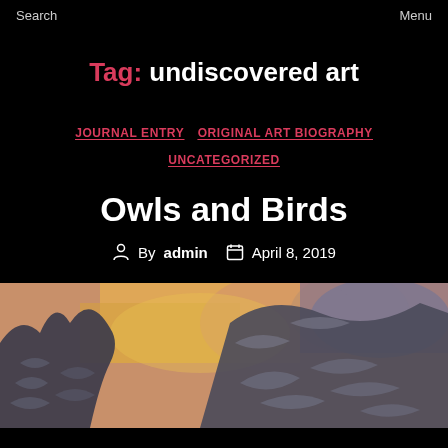Search    Menu
Tag: undiscovered art
JOURNAL ENTRY   ORIGINAL ART BIOGRAPHY   UNCATEGORIZED
Owls and Birds
By admin   April 8, 2019
[Figure (photo): Painting of owls and birds with warm yellow-orange and purple background tones, showing bird wing feather detail in grey/silver tones]